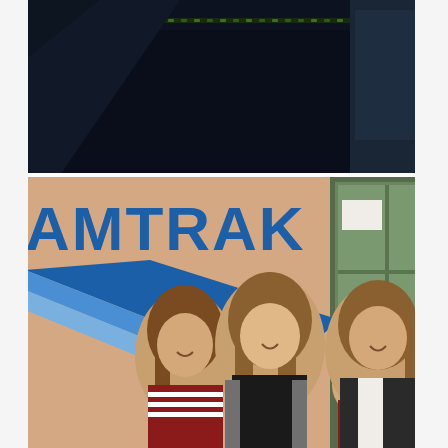[Figure (photo): Two stacked photographs. Top photo: dark interior scene showing ceiling with green accent lighting and architectural elements, very dark/moody. Bottom photo: three women and a small child posing in front of a peach/salmon colored wall with the Amtrak logo (blue text reading 'AMTRAK' with the Amtrak arrow logo below it) and a green-framed window/door to the right. The women have long brown hair; the child is being held by the rightmost woman.]